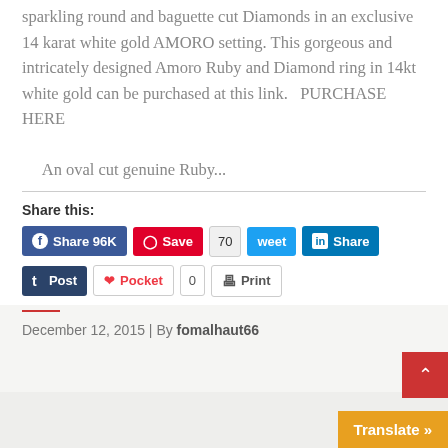sparkling round and baguette cut Diamonds in an exclusive 14 karat white gold AMORO setting. This gorgeous and intricately designed Amoro Ruby and Diamond ring in 14kt white gold can be purchased at this link.   PURCHASE HERE     An oval cut genuine Ruby...
Share this:
Facebook Share 96K | Pinterest Save | Tweet 70 | LinkedIn Share
Tumblr Post | Pocket 0 | Print
December 12, 2015 | By fomalhaut66